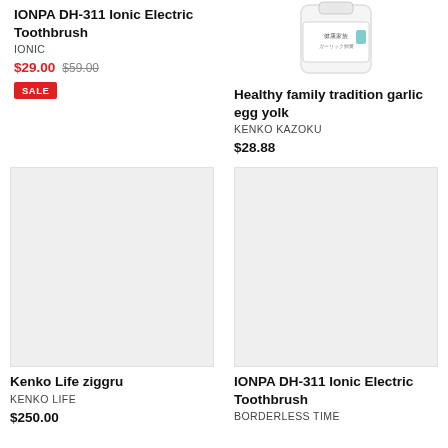IONPA DH-311 Ionic Electric Toothbrush
IONIC
$29.00 $59.00
SALE
[Figure (photo): Partial product image of garlic egg yolk supplement bottle, top portion visible]
Healthy family tradition garlic egg yolk
KENKO KAZOKU
$28.88
[Figure (photo): Large gray placeholder image for Kenko Life ziggru product]
Kenko Life ziggru
KENKO LIFE
$250.00
[Figure (photo): Large gray placeholder image for IONPA DH-311 Ionic Electric Toothbrush product]
IONPA DH-311 Ionic Electric Toothbrush
BORDERLESS TIME